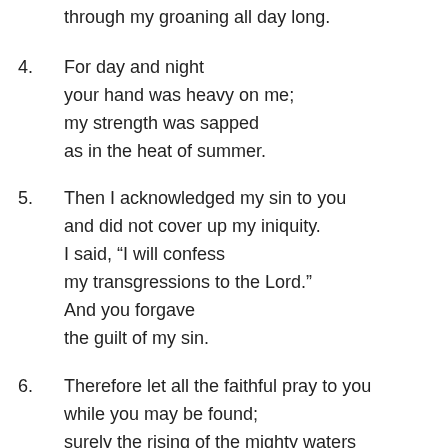through my groaning all day long.
4. For day and night
your hand was heavy on me;
my strength was sapped
as in the heat of summer.
5. Then I acknowledged my sin to you
and did not cover up my iniquity.
I said, “I will confess
my transgressions to the Lord.”
And you forgave
the guilt of my sin.
6. Therefore let all the faithful pray to you
while you may be found;
surely the rising of the mighty waters
will not reach them.